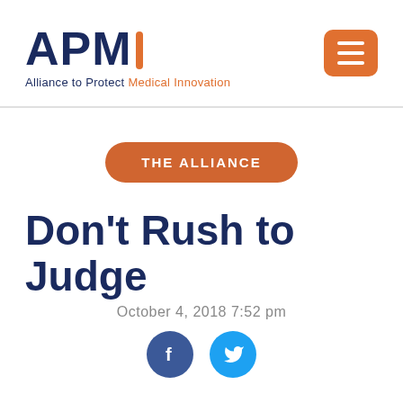APM Alliance to Protect Medical Innovation
THE ALLIANCE
Don't Rush to Judge
October 4, 2018 7:52 pm
[Figure (illustration): Facebook and Twitter social media share icons]
We launched the Alliance to Protect Medical Innovation yesterday, and the reaction was just